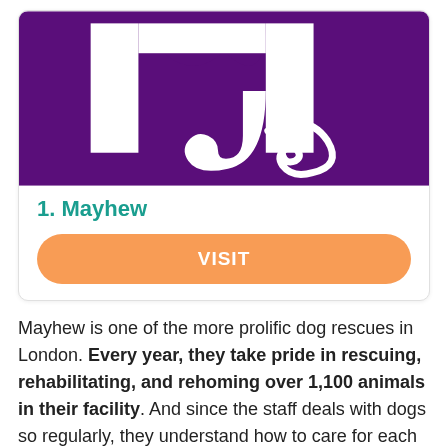[Figure (logo): Mayhew animal charity logo — purple background with white stylized letter M and a white animal tail/paw curl graphic]
1. Mayhew
VISIT
Mayhew is one of the more prolific dog rescues in London. Every year, they take pride in rescuing, rehabilitating, and rehoming over 1,100 animals in their facility. And since the staff deals with dogs so regularly, they understand how to care for each